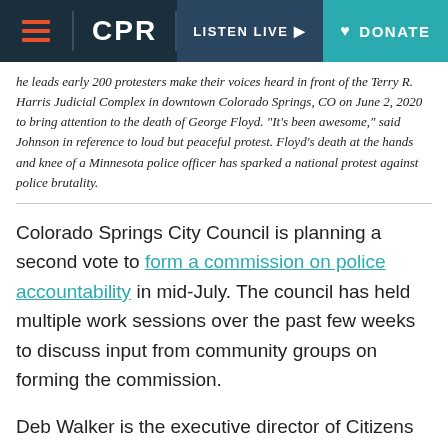CPR | LISTEN LIVE | DONATE
he leads early 200 protesters make their voices heard in front of the Terry R. Harris Judicial Complex in downtown Colorado Springs, CO on June 2, 2020 to bring attention to the death of George Floyd. "It's been awesome," said Johnson in reference to loud but peaceful protest. Floyd's death at the hands and knee of a Minnesota police officer has sparked a national protest against police brutality.
Colorado Springs City Council is planning a second vote to form a commission on police accountability in mid-July. The council has held multiple work sessions over the past few weeks to discuss input from community groups on forming the commission.
Deb Walker is the executive director of Citizens Project, a nonprofit organization advocating for equity in Colorado Springs. She's been involved in